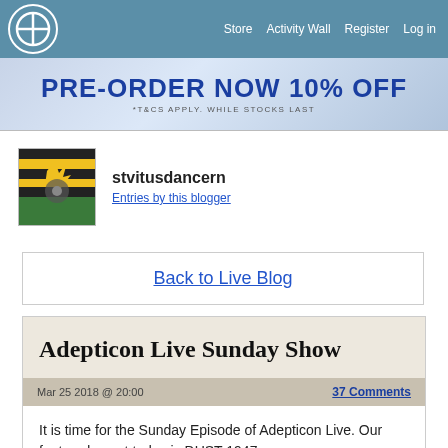Store  Activity Wall  Register  Log in
[Figure (screenshot): PRE-ORDER NOW 10% OFF banner with subtitle *T&CS APPLY. WHILE STOCKS LAST]
stvitusdancern
Entries by this blogger
Back to Live Blog
Adepticon Live Sunday Show
Mar 25 2018 @ 20:00
37 Comments
It is time for the Sunday Episode of Adepticon Live. Our featured guest today is DUST 1947.